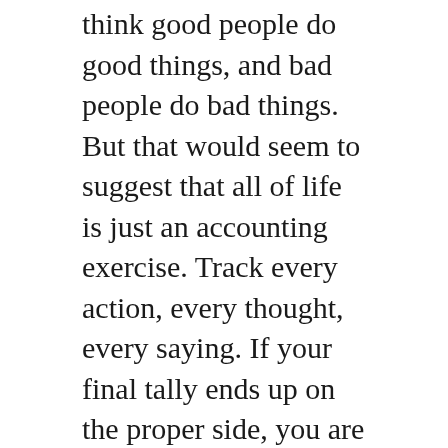think good people do good things, and bad people do bad things. But that would seem to suggest that all of life is just an accounting exercise. Track every action, every thought, every saying. If your final tally ends up on the proper side, you are a good person. Is that realistic?
In summary, do you think you are a good person? What does it mean to be a good person?
Related questions: When is a lie justified? What do you do that you shouldn't? How do you judge yourself? What gives a person value?